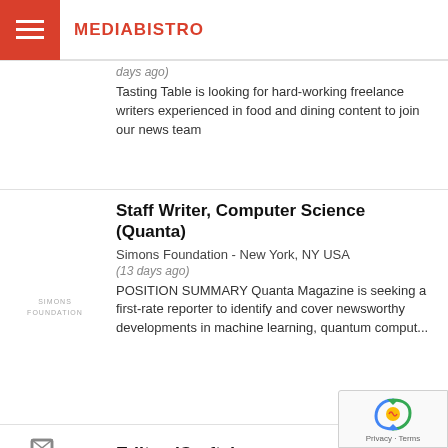MEDIABISTRO
days ago) Tasting Table is looking for hard-working freelance writers experienced in food and dining content to join our news team
Staff Writer, Computer Science (Quanta)
Simons Foundation - New York, NY USA
(13 days ago)
POSITION SUMMARY Quanta Magazine is seeking a first-rate reporter to identify and cover newsworthy developments in machine learning, quantum comput...
Editor (Crafts)